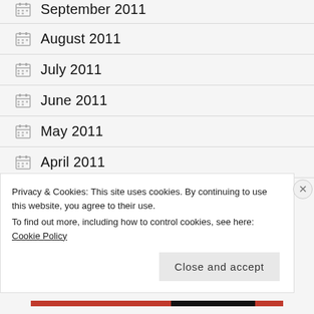September 2011
August 2011
July 2011
June 2011
May 2011
April 2011
March 2011
Privacy & Cookies: This site uses cookies. By continuing to use this website, you agree to their use.
To find out more, including how to control cookies, see here: Cookie Policy